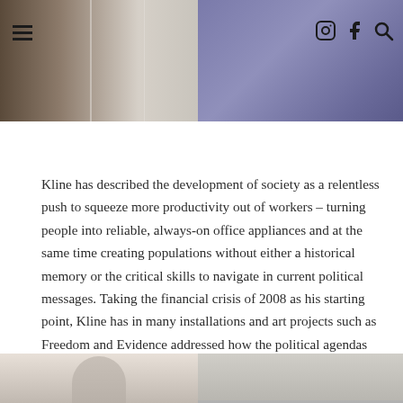[Figure (photo): Two photos side by side at the top: left photo shows a curtain/interior in muted brown and beige tones with a hamburger menu icon overlay; right photo shows tools/brushes in a purple/blue tray with social media icons (Instagram, Facebook, Search) overlaid in the top right corner.]
Kline has described the development of society as a relentless push to squeeze more productivity out of workers – turning people into reliable, always-on office appliances and at the same time creating populations without either a historical memory or the critical skills to navigate in current political messages. Taking the financial crisis of 2008 as his starting point, Kline has in many installations and art projects such as Freedom and Evidence addressed how the political agendas of Washington and an increasingly biased media over the past years have been gradually alienating people from both the truth and the true consequences of major political decisions.
[Figure (photo): Two partial photos visible at the bottom of the page: left shows a partial figure/person, right shows another image partially cut off.]